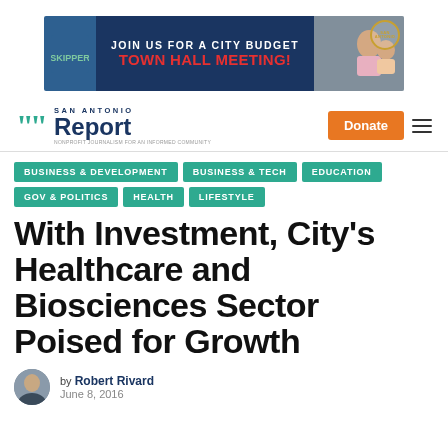[Figure (infographic): Banner advertisement: JOIN US FOR A CITY BUDGET TOWN HALL MEETING! with photo of woman and child, San Antonio badge logo]
San Antonio Report — Donate — menu
BUSINESS & DEVELOPMENT
BUSINESS & TECH
EDUCATION
GOV & POLITICS
HEALTH
LIFESTYLE
With Investment, City's Healthcare and Biosciences Sector Poised for Growth
by Robert Rivard
June 8, 2016